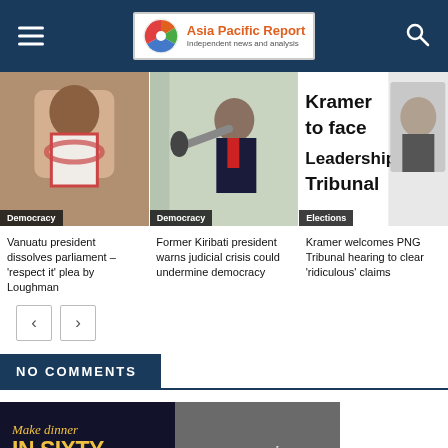Asia Pacific Report — Independent news and analysis
[Figure (photo): Vanuatu president wearing traditional lei, photo labeled Democracy]
[Figure (photo): Former Kiribati president speaking at microphone, photo labeled Democracy]
[Figure (photo): Newspaper front page 'Kramer to face Leadership Tribunal', labeled Elections]
Vanuatu president dissolves parliament – 'respect it' plea by Loughman
Former Kiribati president warns judicial crisis could undermine democracy
Kramer welcomes PNG Tribunal hearing to clear 'ridiculous' claims
NO COMMENTS
[Figure (photo): Advertisement banner: Make dinner IN SIXTY SECONDS with ooni pizza oven]